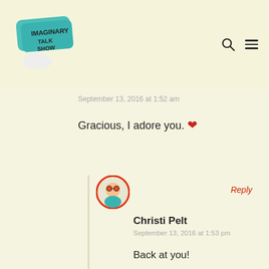[Figure (logo): Imaginary Talk Show logo — teal speech bubble with handwritten text]
September 13, 2016 at 1:52 am
Gracious, I adore you. ❤
[Figure (illustration): Round avatar with red border showing cartoon character]
Reply
Christi Pelt
September 13, 2016 at 1:53 pm
Back at you!
[Figure (photo): Round avatar photo of a woman with blonde hair]
Reply